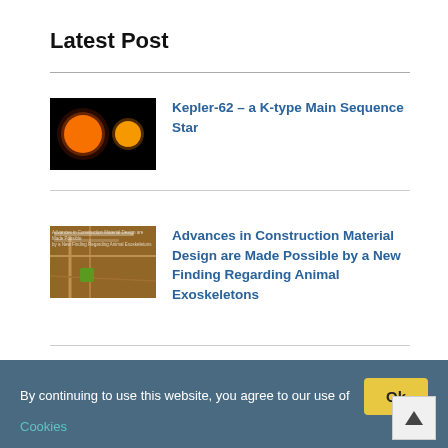Latest Post
[Figure (photo): Thumbnail image of two glowing orange/yellow stars against a black background (Kepler-62 star comparison)]
Kepler-62 – a K-type Main Sequence Star
[Figure (photo): Thumbnail of construction material / animal exoskeleton finding article image]
Advances in Construction Material Design are Made Possible by a New Finding Regarding Animal Exoskeletons
[Figure (photo): Thumbnail of COVID-19 testing article image showing hands and blue surface]
Rapid COVID-19 Testing Made Possible by Nanoparticles Could Be More Durable and Sensitive
By continuing to use this website, you agree to our use of Cookies